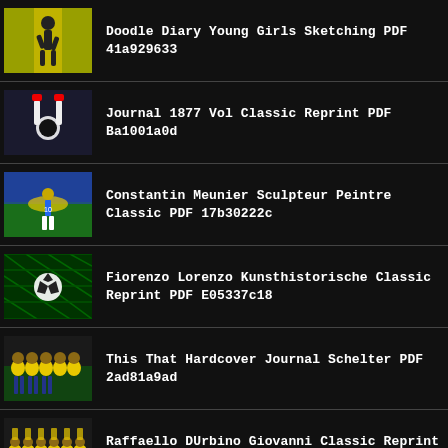Doodle Diary Young Girls Sketching PDF 41a929633
Journal 1877 Vol Classic Reprint PDF Ba1001a0d
Constantin Meunier Sculpteur Peintre Classic PDF 17b30222c
Fiorenzo Lorenzo Kunsthistorische Classic Reprint PDF E05337c18
This That Hardcover Journal Schelter PDF 2ad81a9ad
Raffaello DUrbino Giovanni Classic Reprint PDF 8c0385e3b